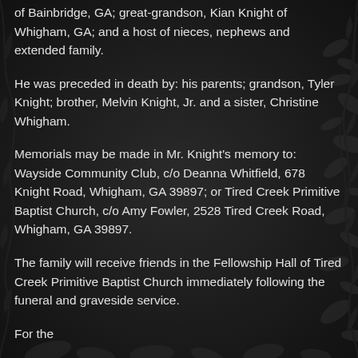of Bainbridge, GA; great-grandson, Kian Knight of Whigham, GA; and a host of nieces, nephews and extended family.
He was preceded in death by: his parents; grandson, Tyler Knight; brother, Melvin Knight, Jr. and a sister, Christine Whigham.
Memorials may be made in Mr. Knight’s memory to: Wayside Community Club, c/o Deanna Whitfield, 678 Knight Road, Whigham, GA 39897; or Tired Creek Primitive Baptist Church, c/o Amy Fowler, 2528 Tired Creek Road, Whigham, GA 39897.
The family will receive friends in the Fellowship Hall of Tired Creek Primitive Baptist Church immediately following the funeral and graveside service.
For the sender’s and others’ more…